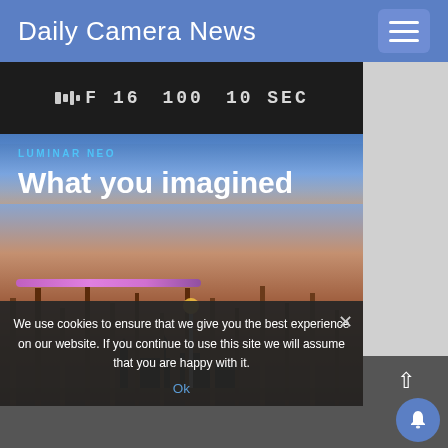Daily Camera News
[Figure (screenshot): Website screenshot of Daily Camera News showing a Luminar Neo advertisement with Venice canal photo at dusk, camera settings strip (F 16, 100, 10 SEC), and cookie consent banner]
LUMINAR NEO
What you imagined
We use cookies to ensure that we give you the best experience on our website. If you continue to use this site we will assume that you are happy with it.
Ok